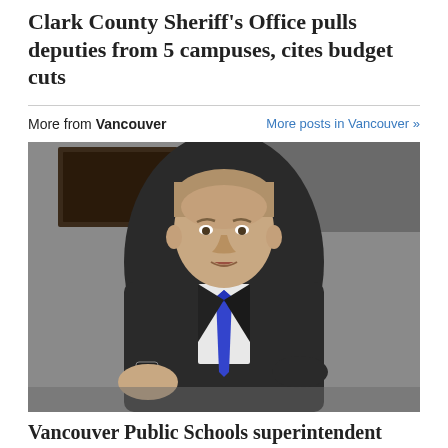Clark County Sheriff's Office pulls deputies from 5 campuses, cites budget cuts
More from Vancouver
More posts in Vancouver »
[Figure (photo): A man in a dark suit with a blue tie seated in a chair, photographed in an office setting with a dark painting or artwork visible in the background. He appears to be the Vancouver Public Schools superintendent.]
Vancouver Public Schools superintendent Webb